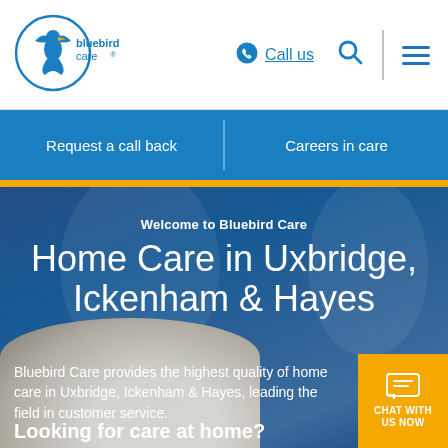[Figure (logo): Bluebird Care logo — blue circle with bird silhouette, text 'bluebird care' below]
Call us | Search | Menu
Request a call back
Careers in care
Welcome to Bluebird Care
Home Care in Uxbridge, Ickenham & Hayes
Bluebird Care provides the highest quality of home care in Uxbridge, Ickenham & Hayes, leading the field in customer service.
Looking for care at home?
CHAT WITH US NOW